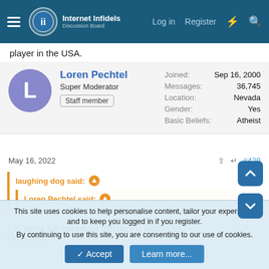Internet Infidels — Log in | Register
player in the USA.
Loren Pechtel | Super Moderator | Staff member | Joined: Sep 16, 2000 | Messages: 36,745 | Location: Nevada | Gender: Yes | Basic Beliefs: Atheist
May 16, 2022  #429
laughing dog said: ↑
Loren Pechtel said: ↑
I do agree the market for teachers is fucked up--that's what
This site uses cookies to help personalise content, tailor your experience and to keep you logged in if you register.
By continuing to use this site, you are consenting to our use of cookies.